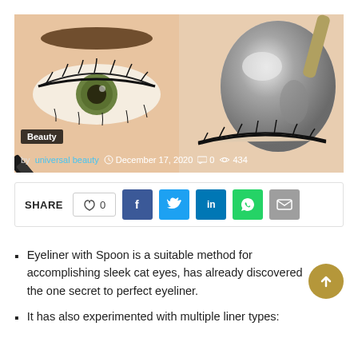[Figure (photo): Left half: close-up of an eye being lined with a black eyeliner pencil. Right half: a shiny metallic spoon held near a closed eye with eyeliner on the lashes.]
Beauty  by universal beauty  December 17, 2020  0  434
SHARE  0  f  in
Eyeliner with Spoon is a suitable method for accomplishing sleek cat eyes, has already discovered the one secret to perfect eyeliner.
It has also experimented with multiple liner types: